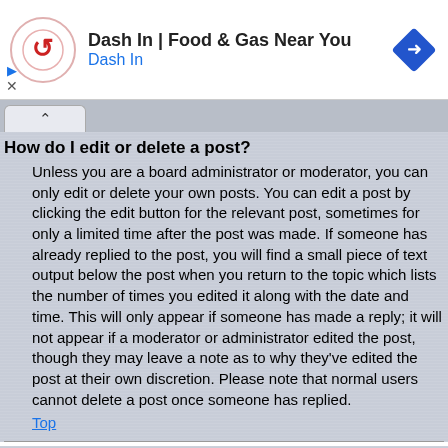[Figure (screenshot): Advertisement banner for 'Dash In | Food & Gas Near You' with Dash In logo (circular, red arrow), navigation diamond icon, play and close ad controls]
How do I edit or delete a post?
Unless you are a board administrator or moderator, you can only edit or delete your own posts. You can edit a post by clicking the edit button for the relevant post, sometimes for only a limited time after the post was made. If someone has already replied to the post, you will find a small piece of text output below the post when you return to the topic which lists the number of times you edited it along with the date and time. This will only appear if someone has made a reply; it will not appear if a moderator or administrator edited the post, though they may leave a note as to why they've edited the post at their own discretion. Please note that normal users cannot delete a post once someone has replied.
Top
How do I add a signature to my post?
To add a signature to a post you must first create one via